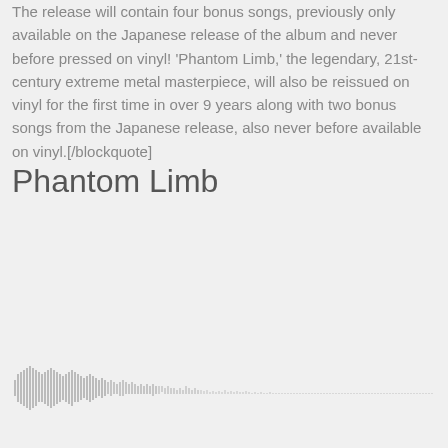The release will contain four bonus songs, previously only available on the Japanese release of the album and never before pressed on vinyl! 'Phantom Limb,' the legendary, 21st-century extreme metal masterpiece, will also be reissued on vinyl for the first time in over 9 years along with two bonus songs from the Japanese release, also never before available on vinyl.[/blockquote]
Phantom Limb
[Figure (other): Audio waveform visualization showing a sound wave pattern, denser at the left and trailing off toward the right, rendered in light gray bars.]